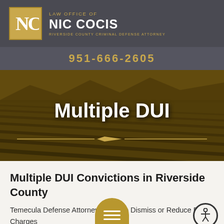LAW OFFICE OF NIC COCIS — RIVERSIDE COUNTY CRIMINAL DEFENSE ATTORNEY
951-666-2605
[Figure (photo): Aerial view of vineyard rows with mountains in the background, overlaid with gold/dark tones. Text 'Multiple DUI' displayed prominently in white over the image with a decorative gold divider.]
Multiple DUI Convictions in Riverside County
Temecula Defense Attorney Fights to Dismiss or Reduce DUI Charges